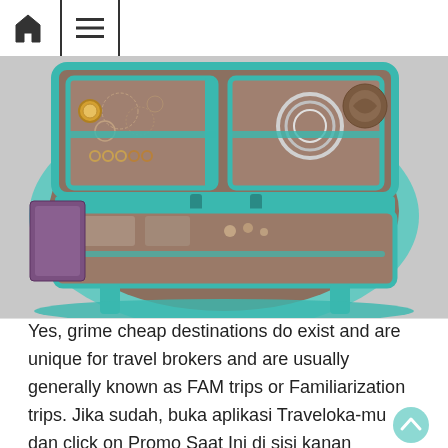[Home icon] [Menu icon]
[Figure (photo): Open teal/turquoise travel jewelry organizer case with multiple compartments showing rings, bracelets, chains, and other jewelry organized inside brown fabric interior with teal zipper trim.]
Yes, grime cheap destinations do exist and are unique for travel brokers and are usually generally known as FAM trips or Familiarization trips. Jika sudah, buka aplikasi Traveloka-mu dan click on Promo Saat Ini di sisi kanan bawah aplikasi untuk